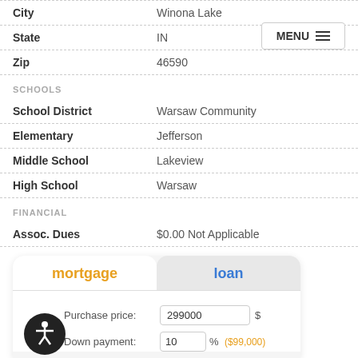| Field | Value |
| --- | --- |
| City | Winona Lake |
| State | IN |
| Zip | 46590 |
SCHOOLS
| Field | Value |
| --- | --- |
| School District | Warsaw Community |
| Elementary | Jefferson |
| Middle School | Lakeview |
| High School | Warsaw |
FINANCIAL
| Field | Value |
| --- | --- |
| Assoc. Dues | $0.00 Not Applicable |
[Figure (screenshot): Mortgage/loan calculator widget with tabs labeled 'mortgage' (orange) and 'loan' (blue). Contains fields: Purchase price: 299000 $, Down payment: 10 % (value partially visible). An accessibility icon button is shown at bottom left.]